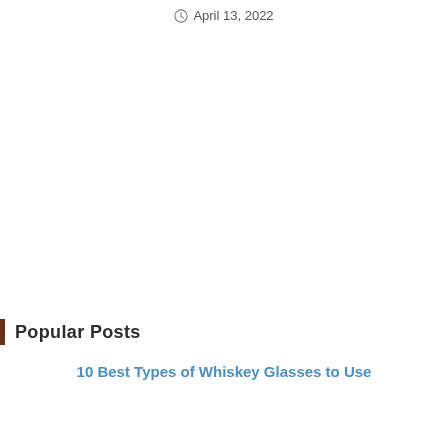April 13, 2022
Popular Posts
10 Best Types of Whiskey Glasses to Use